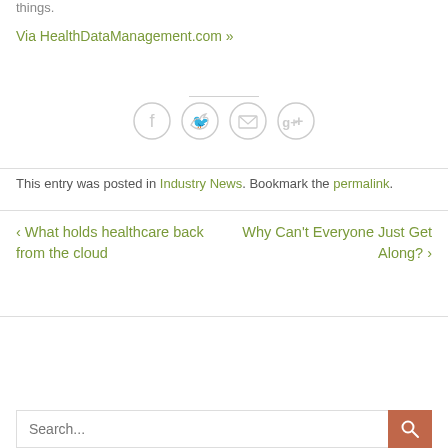things.
Via HealthDataManagement.com »
[Figure (other): Social sharing icons: Facebook, Twitter, Email, Google+]
This entry was posted in Industry News. Bookmark the permalink.
< What holds healthcare back from the cloud
Why Can't Everyone Just Get Along? >
Search...